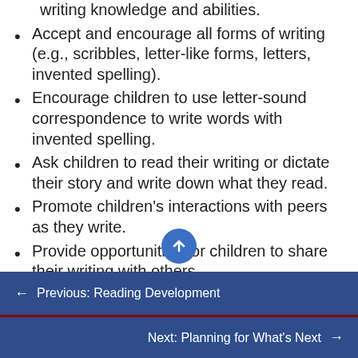writing knowledge and abilities.
Accept and encourage all forms of writing (e.g., scribbles, letter-like forms, letters, invented spelling).
Encourage children to use letter-sound correspondence to write words with invented spelling.
Ask children to read their writing or dictate their story and write down what they read.
Promote children's interactions with peers as they write.
Provide opportunities for children to share their writing with others.
← Previous: Reading Development
Next: Planning for What's Next →